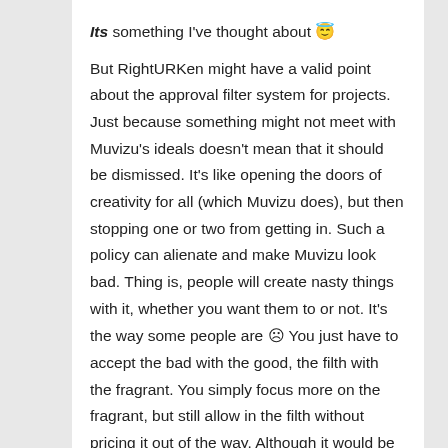Its something I've thought about 😇 But RightURKen might have a valid point about the approval filter system for projects. Just because something might not meet with Muvizu's ideals doesn't mean that it should be dismissed. It's like opening the doors of creativity for all (which Muvizu does), but then stopping one or two from getting in. Such a policy can alienate and make Muvizu look bad. Thing is, people will create nasty things with it, whether you want them to or not. It's the way some people are ☹ You just have to accept the bad with the good, the filth with the fragrant. You simply focus more on the fragrant, but still allow in the filth without pricing it out of the way. Although it would be funny if someone did